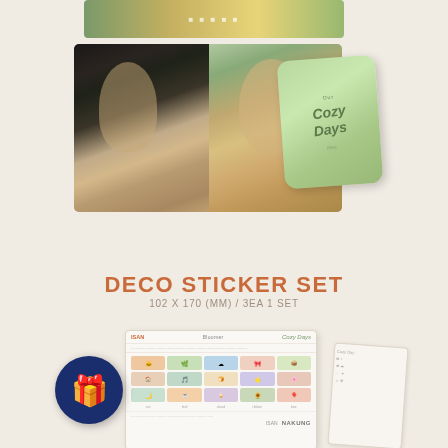[Figure (photo): K-pop photo cards showing group members with green card labeled 'Cozy Days']
DECO STICKER SET
102 X 170 (MM) / 3EA 1 SET
[Figure (photo): Deco sticker sheets fanned out showing cute illustrated stickers]
[Figure (illustration): Blue gift badge icon]